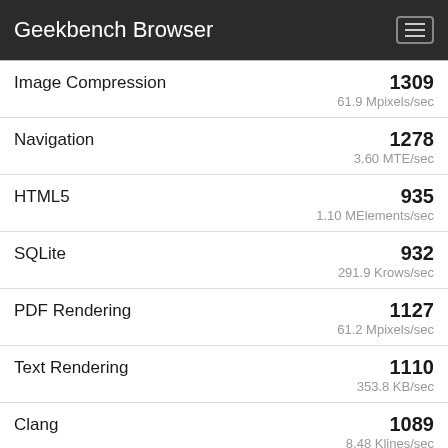Geekbench Browser
| Benchmark | Score | Unit |
| --- | --- | --- |
| Image Compression | 1309 | 61.9 Mpixels/sec |
| Navigation | 1278 | 3.60 MTE/sec |
| HTML5 | 935 | 1.10 MElements/sec |
| SQLite | 932 | 291.9 Krows/sec |
| PDF Rendering | 1127 | 61.2 Mpixels/sec |
| Text Rendering | 1110 | 353.8 KB/sec |
| Clang | 1089 | 8.48 Klines/sec |
| Camera | 1283 | 14.8 images/sec |